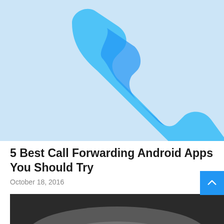[Figure (illustration): Phone handset icon (blue) on a light blue background representing call forwarding Android apps]
5 Best Call Forwarding Android Apps You Should Try
October 18, 2016
[Figure (photo): Partial photo with dark blurred background visible at bottom of page]